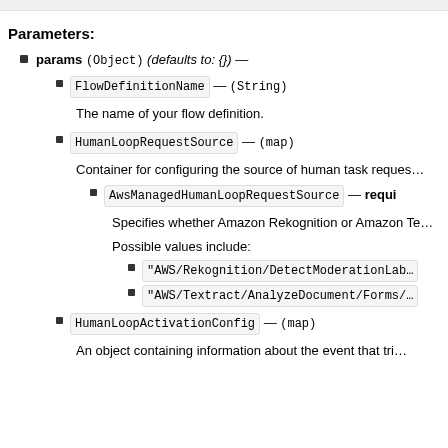Parameters:
params (Object) (defaults to: {}) —
FlowDefinitionName — (String)
The name of your flow definition.
HumanLoopRequestSource — (map)
Container for configuring the source of human task reques...
AwsManagedHumanLoopRequestSource — required (String)
Specifies whether Amazon Rekognition or Amazon Te...
Possible values include:
"AWS/Rekognition/DetectModerationLab..."
"AWS/Textract/AnalyzeDocument/Forms/..."
HumanLoopActivationConfig — (map)
An object containing information about the event that tri...